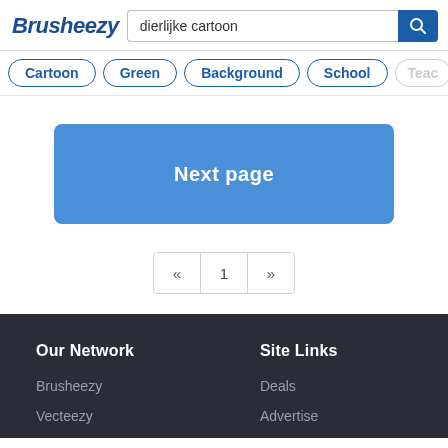Brusheezy
dierlijke cartoon
Cartoon
Green
Background
School
Teac
Next page
« 1 »
Our Network
Site Links
Brusheezy
Vecteezy
Deals
Advertise